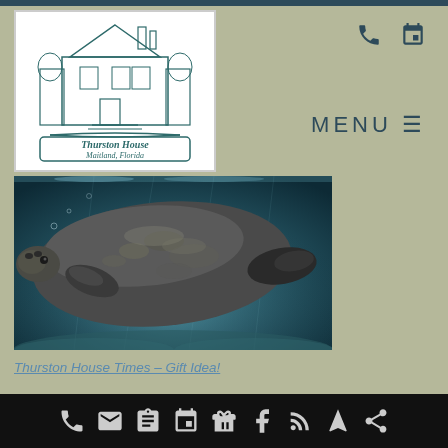[Figure (logo): Thurston House Maitland Florida illustrated logo with Victorian house drawing]
[Figure (photo): Underwater photograph of a manatee swimming in blue-green water]
Thurston House Times – Gift Idea!
What to do, what to get... Always a big
Phone, Email, Form, Calendar, Gift, Facebook, RSS, Location, Share icons